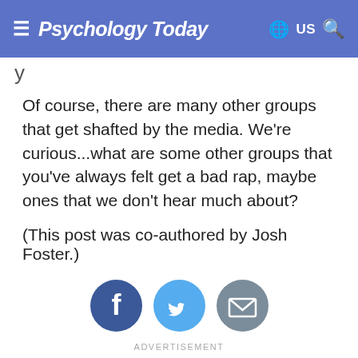Psychology Today — US
y
Of course, there are many other groups that get shafted by the media. We're curious...what are some other groups that you've always felt get a bad rap, maybe ones that we don't hear much about?
(This post was co-authored by Josh Foster.)
[Figure (infographic): Three social sharing icons: Facebook (dark blue circle with f), Twitter (light blue circle with bird), and Email (grey circle with envelope).]
ADVERTISEMENT